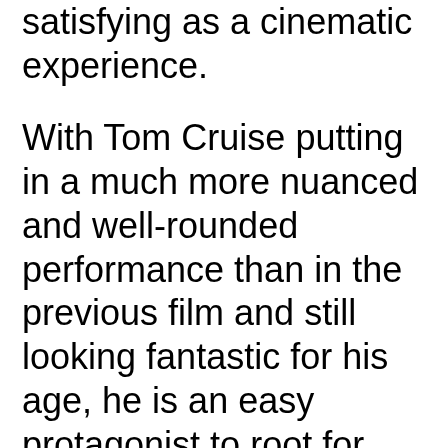satisfying as a cinematic experience.
With Tom Cruise putting in a much more nuanced and well-rounded performance than in the previous film and still looking fantastic for his age, he is an easy protagonist to root for, and this is easily his best work in years, if not decades (I think it would take a lot for Mission: Impossible to trump what has been achieved here). However, the same dimensionality can't really be said of anyone else in the